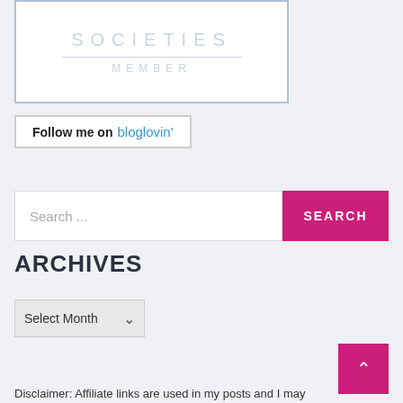[Figure (logo): Societies member badge — bordered white box with 'SOCIETIES' text in large spaced letters, a horizontal rule, and 'MEMBER' in spaced letters, all in light gray-blue]
Follow me on bloglovin'
Search ...
ARCHIVES
Select Month
Disclaimer: Affiliate links are used in my posts and I may